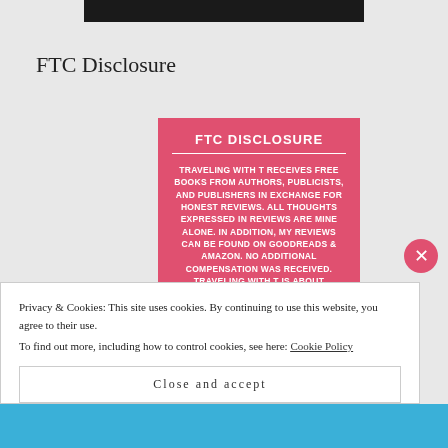[Figure (other): Black bar at top, partial image cropped]
FTC Disclosure
[Figure (infographic): Pink/red FTC Disclosure box with white text: FTC DISCLOSURE. TRAVELING WITH T RECEIVES FREE BOOKS FROM AUTHORS, PUBLICISTS, AND PUBLISHERS IN EXCHANGE FOR HONEST REVIEWS. ALL THOUGHTS EXPRESSED IN REVIEWS ARE MINE ALONE. IN ADDITION, MY REVIEWS CAN BE FOUND ON GOODREADS & AMAZON. NO ADDITIONAL COMPENSATION WAS RECEIVED. TRAVELING WITH T IS ABOUT SHARING KNOWLEDGE OF GOOD AND INTERESTING BOOKS.]
Privacy & Cookies: This site uses cookies. By continuing to use this website, you agree to their use.
To find out more, including how to control cookies, see here: Cookie Policy
Close and accept